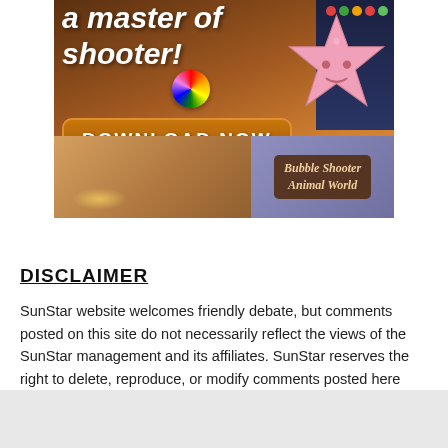[Figure (screenshot): Mobile game advertisement for 'Bubble Shooter Animal World' showing a pink star character, rainbow ball, 'DOWNLOAD NOW' button, and game screenshots. Text reads 'a master of shooter!']
DISCLAIMER
SunStar website welcomes friendly debate, but comments posted on this site do not necessarily reflect the views of the SunStar management and its affiliates. SunStar reserves the right to delete, reproduce, or modify comments posted here without notice. Posts that are inappropriate will automatically be deleted.